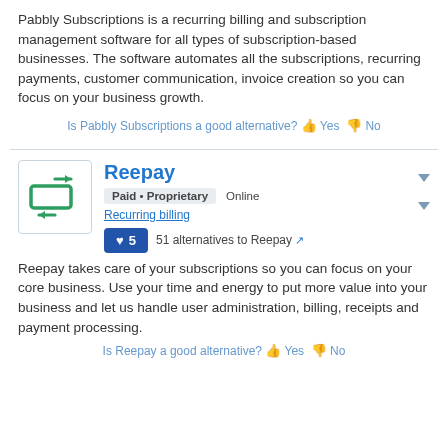Pabbly Subscriptions is a recurring billing and subscription management software for all types of subscription-based businesses. The software automates all the subscriptions, recurring payments, customer communication, invoice creation so you can focus on your business growth.
Is Pabbly Subscriptions a good alternative? Yes No
Reepay
Paid • Proprietary  Online
Recurring billing
51 alternatives to Reepay
Reepay takes care of your subscriptions so you can focus on your core business. Use your time and energy to put more value into your business and let us handle user administration, billing, receipts and payment processing.
Is Reepay a good alternative? Yes No